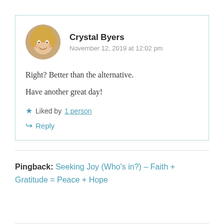Crystal Byers
November 12, 2019 at 12:02 pm
Right? Better than the alternative.
Have another great day!
Liked by 1 person
Reply
Pingback: Seeking Joy (Who's in?) – Faith + Gratitude = Peace + Hope